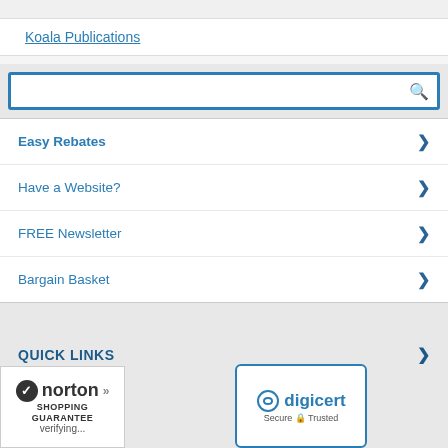Koala Publications
[Figure (screenshot): Search box with blue border and magnifying glass icon]
Easy Rebates
Have a Website?
FREE Newsletter
Bargain Basket
QUICK LINKS
CUSTOMER SERVICE
[Figure (logo): Norton Shopping Guarantee badge with verifying text]
[Figure (logo): DigiCert Secure Trusted badge]